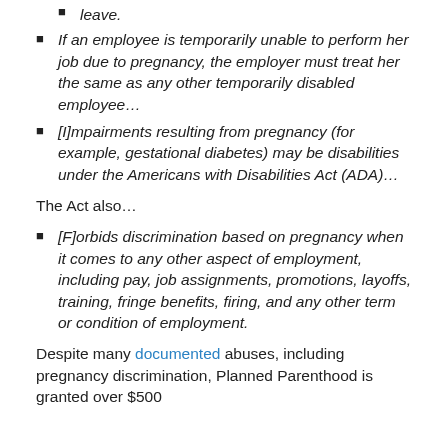leave.
If an employee is temporarily unable to perform her job due to pregnancy, the employer must treat her the same as any other temporarily disabled employee…
[I]mpairments resulting from pregnancy (for example, gestational diabetes) may be disabilities under the Americans with Disabilities Act (ADA)…
The Act also…
[F]orbids discrimination based on pregnancy when it comes to any other aspect of employment, including pay, job assignments, promotions, layoffs, training, fringe benefits, firing, and any other term or condition of employment.
Despite many documented abuses, including pregnancy discrimination, Planned Parenthood is granted over $500